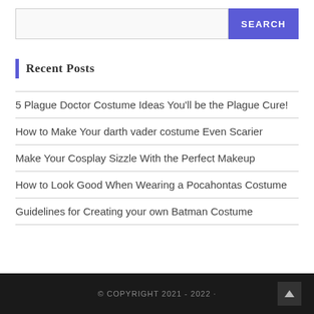[Figure (other): Search input box with blue SEARCH button]
Recent Posts
5 Plague Doctor Costume Ideas You'll be the Plague Cure!
How to Make Your darth vader costume Even Scarier
Make Your Cosplay Sizzle With the Perfect Makeup
How to Look Good When Wearing a Pocahontas Costume
Guidelines for Creating your own Batman Costume
© COPYRIGHT 2021 - 2022 ·